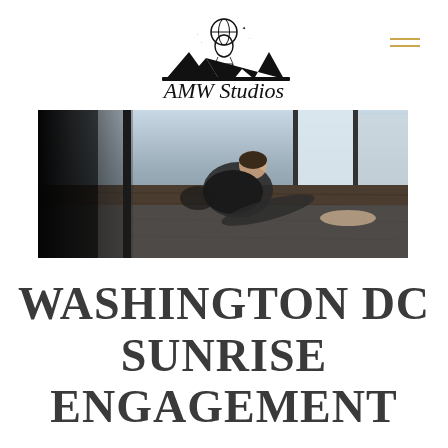[Figure (logo): AMW Studios logo: hot air balloon with globe above mountain silhouette, styled script text 'AMW Studios' below]
[Figure (photo): Couple sitting on a wooden floor near large windows, woman leaning against man, low angle shot in natural light]
WASHINGTON DC SUNRISE ENGAGEMENT SESSION